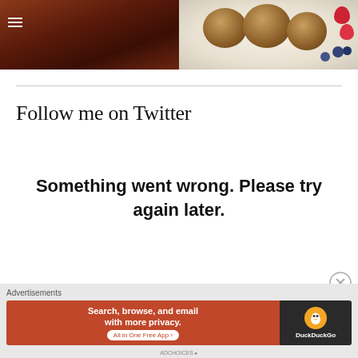[Figure (photo): Two food photos side by side cropped at top: left shows a dark braised meat dish in a dark pan, right shows powdered sugar-dusted buns/rolls on a white plate with strawberries and blueberries]
Follow me on Twitter
Something went wrong. Please try again later.
Advertisements
[Figure (screenshot): DuckDuckGo advertisement banner: orange left panel with text 'Search, browse, and email with more privacy. All in One Free App'; dark right panel with DuckDuckGo duck logo and brand name]